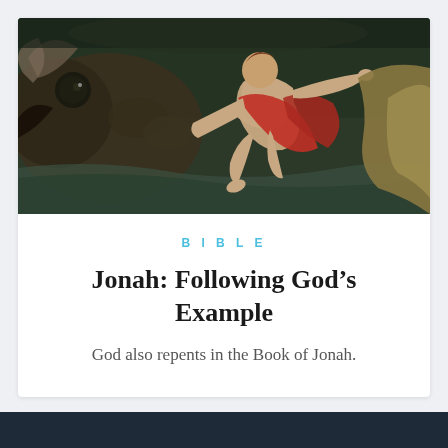[Figure (illustration): Classical painting depicting Jonah being swallowed or ejected by a large fish/whale. The scene shows a dramatic figure in red drapery against a dark turbulent background with a large creature.]
BIBLE
Jonah: Following God’s Example
God also repents in the Book of Jonah.